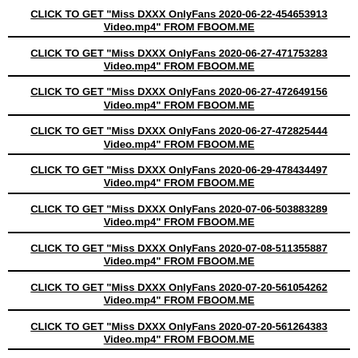CLICK TO GET "Miss DXXX OnlyFans 2020-06-22-454653913 Video.mp4" FROM FBOOM.ME
CLICK TO GET "Miss DXXX OnlyFans 2020-06-27-471753283 Video.mp4" FROM FBOOM.ME
CLICK TO GET "Miss DXXX OnlyFans 2020-06-27-472649156 Video.mp4" FROM FBOOM.ME
CLICK TO GET "Miss DXXX OnlyFans 2020-06-27-472825444 Video.mp4" FROM FBOOM.ME
CLICK TO GET "Miss DXXX OnlyFans 2020-06-29-478434497 Video.mp4" FROM FBOOM.ME
CLICK TO GET "Miss DXXX OnlyFans 2020-07-06-503883289 Video.mp4" FROM FBOOM.ME
CLICK TO GET "Miss DXXX OnlyFans 2020-07-08-511355887 Video.mp4" FROM FBOOM.ME
CLICK TO GET "Miss DXXX OnlyFans 2020-07-20-561054262 Video.mp4" FROM FBOOM.ME
CLICK TO GET "Miss DXXX OnlyFans 2020-07-20-561264383 Video.mp4" FROM FBOOM.ME